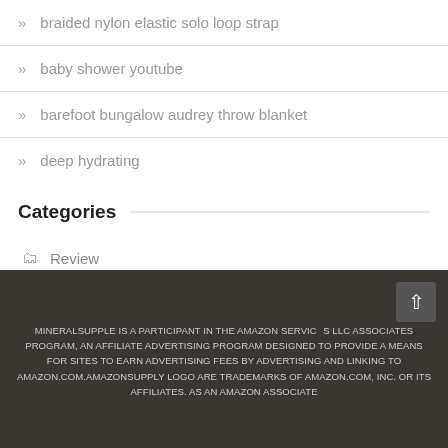» braided nylon elastic solo loop strap
» baby shower youtube
» barefoot bungalow audrey throw blanket
» deep hydrating
Categories
Review
MINERALSUPPLE IS A PARTICIPANT IN THE AMAZON SERVICES LLC ASSOCIATES PROGRAM, AN AFFILIATE ADVERTISING PROGRAM DESIGNED TO PROVIDE A MEANS FOR SITES TO EARN ADVERTISING FEES BY ADVERTISING AND LINKING TO AMAZON.COM.AMAZONSUPPLY LOGO ARE TRADEMARKS OF AMAZON.COM, INC. OR ITS AFFILIATES. AS AN AMAZON ASSOCIATE